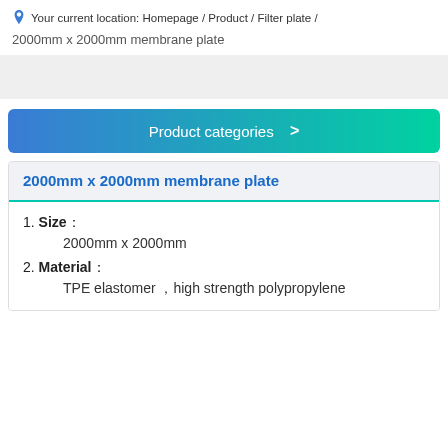Your current location: Homepage / Product / Filter plate /
2000mm x 2000mm membrane plate
Product categories >
2000mm x 2000mm membrane plate
1. Size： 2000mm x 2000mm
2. Material： TPE elastomer ，high strength polypropylene